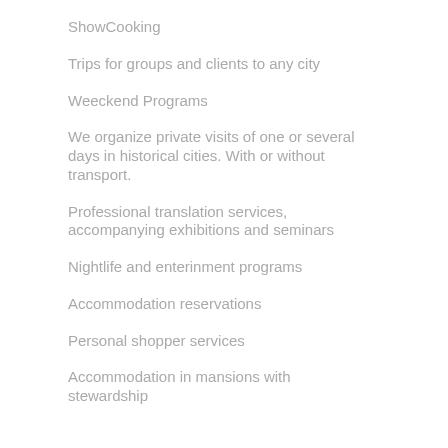ShowCooking
Trips for groups and clients to any city
Weeckend Programs
We organize private visits of one or several days in historical cities. With or without transport.
Professional translation services, accompanying exhibitions and seminars
Nightlife and enterinment programs
Accommodation reservations
Personal shopper services
Accommodation in mansions with stewardship